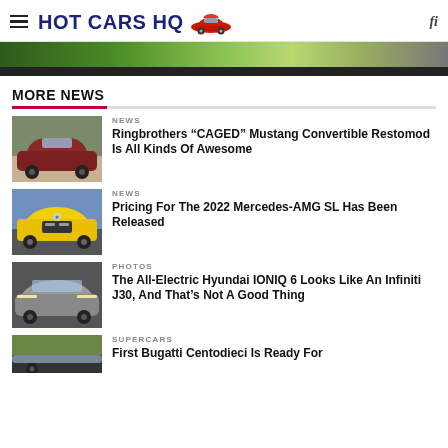HOT CARS HQ
[Figure (photo): Hero banner with green outdoor/racetrack background]
MORE NEWS
[Figure (photo): Classic Mustang convertible restomod on gravel]
NEWS
Ringbrothers “CAGED” Mustang Convertible Restomod Is All Kinds Of Awesome
[Figure (photo): Yellow Mercedes-AMG SL front view outdoors]
NEWS
Pricing For The 2022 Mercedes-AMG SL Has Been Released
[Figure (photo): Silver/grey electric Hyundai IONIQ 6 sedan]
PHOTOS
The All-Electric Hyundai IONIQ 6 Looks Like An Infiniti J30, And That’s Not A Good Thing
[Figure (photo): Bugatti Centodieci partial view]
SUPERCARS
First Bugatti Centodieci Is Ready For